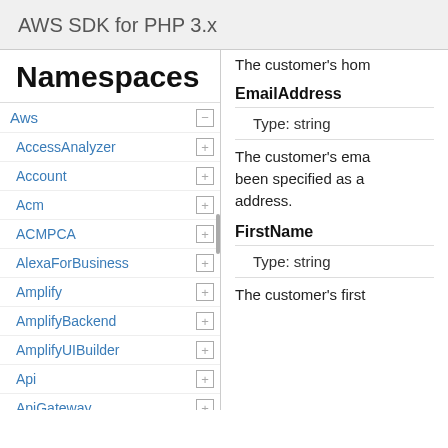AWS SDK for PHP 3.x
Namespaces
Aws
AccessAnalyzer
Account
Acm
ACMPCA
AlexaForBusiness
Amplify
AmplifyBackend
AmplifyUIBuilder
Api
ApiGateway
ApiGatewayManagementApi
The customer's hom
EmailAddress
Type: string
The customer's ema been specified as a address.
FirstName
Type: string
The customer's first